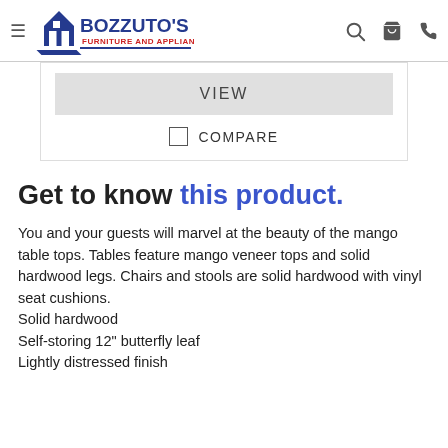Bozzuto's Furniture and Appliance — header with logo, search, cart, phone icons
VIEW
COMPARE
Get to know this product.
You and your guests will marvel at the beauty of the mango table tops. Tables feature mango veneer tops and solid hardwood legs. Chairs and stools are solid hardwood with vinyl seat cushions.
Solid hardwood
Self-storing 12" butterfly leaf
Lightly distressed finish